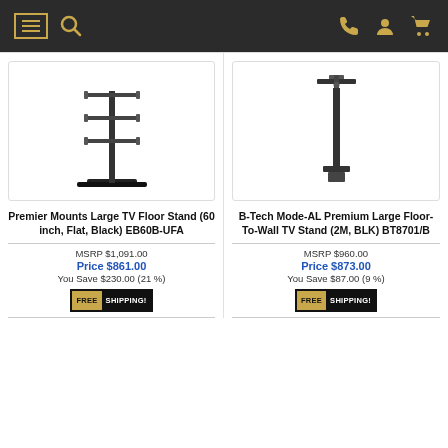Navigation bar with menu, search, phone, account, cart icons
[Figure (photo): Premier Mounts Large TV Floor Stand product image - black metal floor stand with horizontal arms]
[Figure (photo): B-Tech Mode-AL Premium Large Floor-To-Wall TV Stand product image - tall black pole with cross mount]
Premier Mounts Large TV Floor Stand (60 inch, Flat, Black) EB60B-UFA
MSRP $1,091.00
Price $861.00
You Save $230.00 (21 %)
FREE SHIPPING!
B-Tech Mode-AL Premium Large Floor-To-Wall TV Stand (2M, BLK) BT8701/B
MSRP $960.00
Price $873.00
You Save $87.00 (9 %)
FREE SHIPPING!